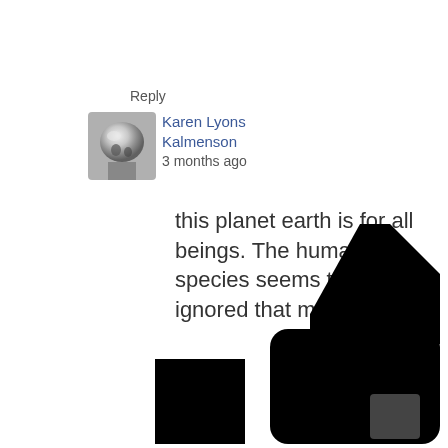Reply
[Figure (photo): Profile photo thumbnail of user Karen Lyons Kalmenson — a chrome/reflective spherical object]
Karen Lyons Kalmenson
3 months ago
this planet earth is for all beings. The human species seems to have ignored that memo.
[Figure (illustration): Large black thumbs-up like icon, partially cropped at the bottom of the page]